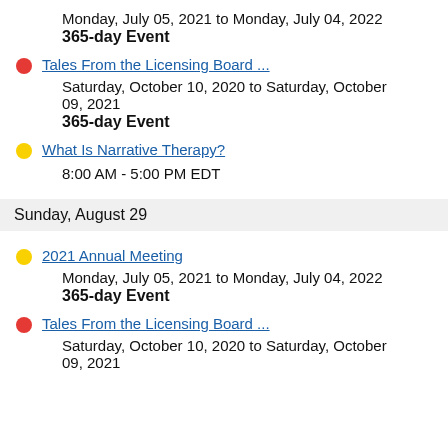Monday, July 05, 2021 to Monday, July 04, 2022
365-day Event
Tales From the Licensing Board ...
Saturday, October 10, 2020 to Saturday, October 09, 2021
365-day Event
What Is Narrative Therapy?
8:00 AM - 5:00 PM EDT
Sunday, August 29
2021 Annual Meeting
Monday, July 05, 2021 to Monday, July 04, 2022
365-day Event
Tales From the Licensing Board ...
Saturday, October 10, 2020 to Saturday, October 09, 2021